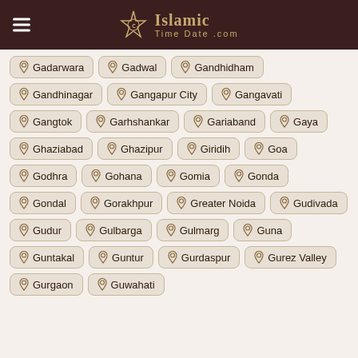Islamic Time Date .com
Gadarwara
Gadwal
Gandhidham
Gandhinagar
Gangapur City
Gangavati
Gangtok
Garhshankar
Gariaband
Gaya
Ghaziabad
Ghazipur
Giridih
Goa
Godhra
Gohana
Gomia
Gonda
Gondal
Gorakhpur
Greater Noida
Gudivada
Gudur
Gulbarga
Gulmarg
Guna
Guntakal
Guntur
Gurdaspur
Gurez Valley
Gurgaon
Guwahati